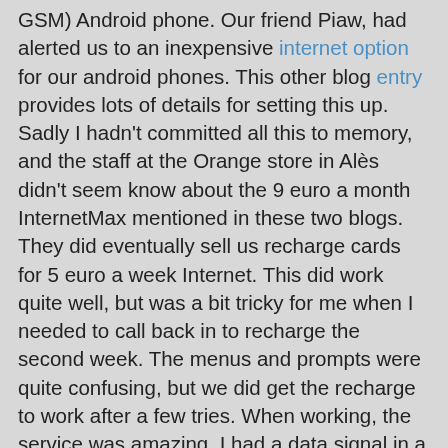GSM) Android phone. Our friend Piaw, had alerted us to an inexpensive internet option for our android phones. This other blog entry provides lots of details for setting this up. Sadly I hadn't committed all this to memory, and the staff at the Orange store in Alès didn't seem know about the 9 euro a month InternetMax mentioned in these two blogs. They did eventually sell us recharge cards for 5 euro a week Internet. This did work quite well, but was a bit tricky for me when I needed to call back in to recharge the second week. The menus and prompts were quite confusing, but we did get the recharge to work after a few tries. When working, the service was amazing. I had a data signal in a surprising number of remote places. I was able to use my phone as a portable hotspot to share the connection with our MacBook Air, and use RideWithGPS for planning out routes! And I could use gmail, facebook and twitter to keep friends and family up to date on our trip. I had hoped to be able to use skype or google talk to make calls home for free, but while the call would connect, no one could hear me. I'll have to do some more research on this before we go back. There were also inexpensive options for international calls, but I need to do some more research there too, and it will surely change